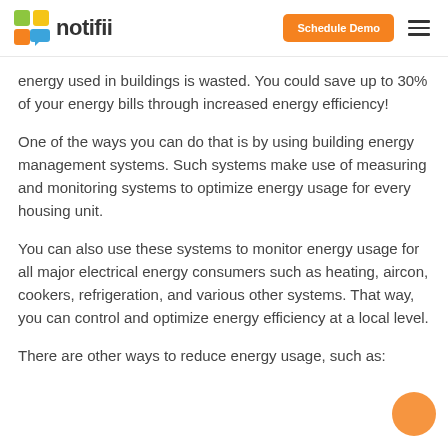notifii | Schedule Demo
energy used in buildings is wasted. You could save up to 30% of your energy bills through increased energy efficiency!
One of the ways you can do that is by using building energy management systems. Such systems make use of measuring and monitoring systems to optimize energy usage for every housing unit.
You can also use these systems to monitor energy usage for all major electrical energy consumers such as heating, aircon, cookers, refrigeration, and various other systems. That way, you can control and optimize energy efficiency at a local level.
There are other ways to reduce energy usage, such as: